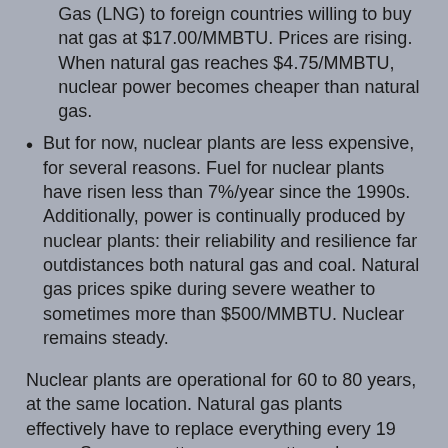Gas (LNG) to foreign countries willing to buy nat gas at $17.00/MMBTU. Prices are rising. When natural gas reaches $4.75/MMBTU, nuclear power becomes cheaper than natural gas.
But for now, nuclear plants are less expensive, for several reasons. Fuel for nuclear plants have risen less than 7%/year since the 1990s. Additionally, power is continually produced by nuclear plants: their reliability and resilience far outdistances both natural gas and coal. Natural gas prices spike during severe weather to sometimes more than $500/MMBTU. Nuclear remains steady.
Nuclear plants are operational for 60 to 80 years, at the same location. Natural gas plants effectively have to replace everything every 19 years. So megawatt vs. megawatt, nuclear power is built much stronger initially. It out lasts and out performs natural gas in a less expensive manner.
5) Community Friendly